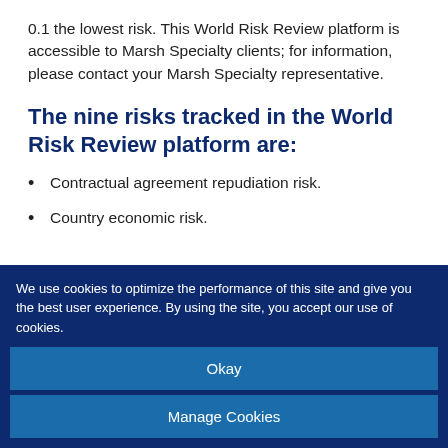0.1 the lowest risk. This World Risk Review platform is accessible to Marsh Specialty clients; for information, please contact your Marsh Specialty representative.
The nine risks tracked in the World Risk Review platform are:
Contractual agreement repudiation risk.
Country economic risk.
We use cookies to optimize the performance of this site and give you the best user experience. By using the site, you accept our use of cookies.
Okay
Manage Cookies